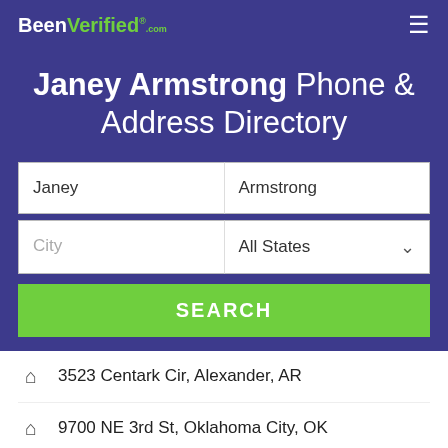BeenVerified.com
Janey Armstrong Phone & Address Directory
Janey | Armstrong
City | All States
SEARCH
3523 Centark Cir, Alexander, AR
9700 NE 3rd St, Oklahoma City, OK